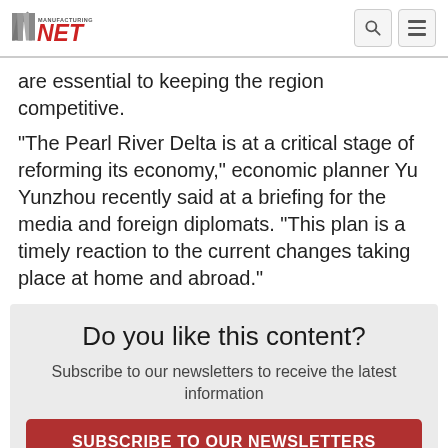Manufacturing.net
are essential to keeping the region competitive.
"The Pearl River Delta is at a critical stage of reforming its economy," economic planner Yu Yunzhou recently said at a briefing for the media and foreign diplomats. "This plan is a timely reaction to the current changes taking place at home and abroad."
Do you like this content?
Subscribe to our newsletters to receive the latest information
SUBSCRIBE TO OUR NEWSLETTERS